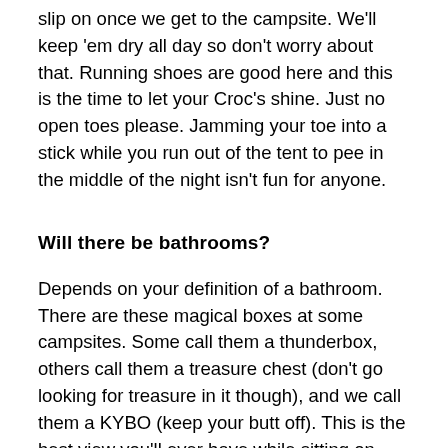slip on once we get to the campsite. We'll keep 'em dry all day so don't worry about that. Running shoes are good here and this is the time to let your Croc's shine. Just no open toes please. Jamming your toe into a stick while you run out of the tent to pee in the middle of the night isn't fun for anyone.
Will there be bathrooms?
Depends on your definition of a bathroom. There are these magical boxes at some campsites. Some call them a thunderbox, others call them a treasure chest (don't go looking for treasure in it though), and we call them a KYBO (keep your butt off). This is the best view you'll ever have while sitting on your throne. It's a box, with a hole on top, placed over a deep pit. You get the idea.